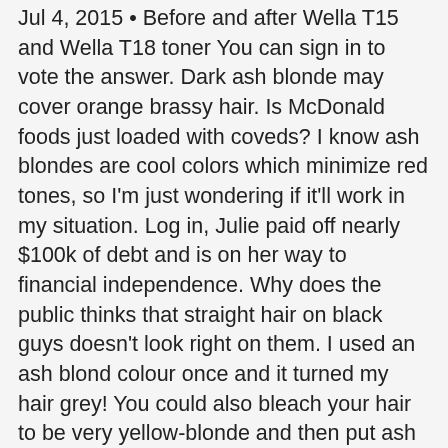Jul 4, 2015 • Before and after Wella T15 and Wella T18 toner You can sign in to vote the answer. Dark ash blonde may cover orange brassy hair. Is McDonald foods just loaded with coveds? I know ash blondes are cool colors which minimize red tones, so I'm just wondering if it'll work in my situation. Log in, Julie paid off nearly $100k of debt and is on her way to financial independence. Why does the public thinks that straight hair on black guys doesn't look right on them. I used an ash blond colour once and it turned my hair grey! You could also bleach your hair to be very yellow-blonde and then put ash blonde over top. My hair is breaking off and damaged should I cut it to a pixie cut to grow it back? While choosing a hair dye for your blonde, it is good to know about the product's effect on your hair, the maintenance level, and your allergic reaction to the dye.Going back to your natural ash blonde should begin by application of a color stripper to your hair, that is, if your hair is dyed with a different color. Raffensperger announces new Ga. voting investigation, Movie star's family farm burns down in 'horrible fire', NFL blindly rolls through an embarrassing weekend. How